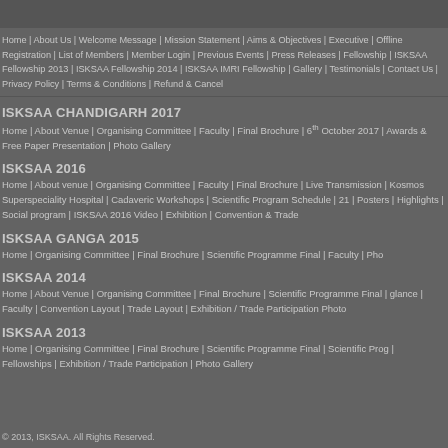Home | About Us | Welcome Message | Mission Statement | Aims & Objectives | Executive | Offline Registration | List of Members | Member Login | Previous Events | Press Releases | Fellowship | ISKSAA Fellowship 2013 | ISKSAA Fellowship 2014 | ISKSAA IMRI Fellowship | Gallery | Testimonials | Contact Us | Privacy Policy | Terms & Conditions | Refund & Cancel
ISKSAA CHANDIGARH 2017
Home | About Venue | Organising Committee | Faculty | Final Brochure | 6th October 2017 | Awards & Free Paper Presentation | Photo Gallery
ISKSAA 2016
Home | About venue | Organising Committee | Faculty | Final Brochure | Live Transmission | Kosmos Superspeciality Hospital | Cadaveric Workshops | Scientific Program Schedule | 21 | Posters | Highlights | Social program | ISKSAA 2016 Video | Exhibition | Convention & Trade
ISKSAA GANGA 2015
Home | Organising Committee | Final Brochure | Scientific Programme Final | Faculty | Pho
ISKSAA 2014
Home | About Venue | Organising Committee | Final Brochure | Scientific Programme Final | glance | Faculty | Convention Layout | Trade Layout | Exhibition / Trade Participation Photo
ISKSAA 2013
Home | Organising Committee | Final Brochure | Scientific Programme Final | Scientific Prog | Fellowships | Exhibition / Trade Participation | Photo Gallery
© 2013, ISKSAA. All Rights Reserved.